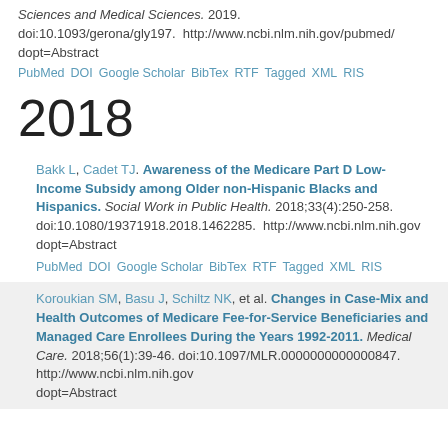Sciences and Medical Sciences. 2019. doi:10.1093/gerona/gly197. http://www.ncbi.nlm.nih.gov/pubmed/...dopt=Abstract
PubMed DOI Google Scholar BibTex RTF Tagged XML RIS
2018
Bakk L, Cadet TJ. Awareness of the Medicare Part D Low-Income Subsidy among Older non-Hispanic Blacks and Hispanics. Social Work in Public Health. 2018;33(4):250-258. doi:10.1080/19371918.2018.1462285. http://www.ncbi.nlm.nih.gov/...dopt=Abstract
PubMed DOI Google Scholar BibTex RTF Tagged XML RIS
Koroukian SM, Basu J, Schiltz NK, et al. Changes in Case-Mix and Health Outcomes of Medicare Fee-for-Service Beneficiaries and Managed Care Enrollees During the Years 1992-2011. Medical Care. 2018;56(1):39-46. doi:10.1097/MLR.0000000000000847. http://www.ncbi.nlm.nih.gov/...dopt=Abstract